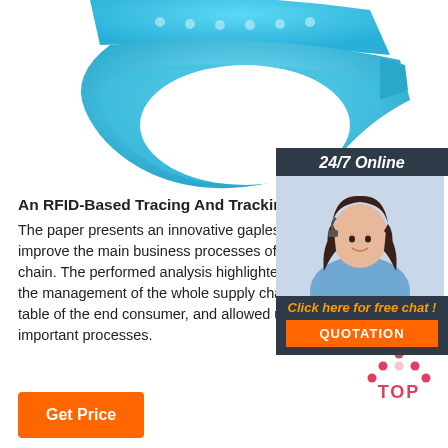[Figure (photo): Blue rubber/silicone RFID wristband against white background]
[Figure (photo): 24/7 Online chat widget with woman wearing headset and quotation button]
An RFID-Based Tracing And Tracking System For T...
The paper presents an innovative gapless traceability system to improve the main business processes of the fresh vegetable supply chain. The performed analysis highlighted some critical aspects of the management of the whole supply chain, from the farm to the table of the end consumer, and allowed us to reengineer the most important processes.
[Figure (other): TOP button icon with orange dots forming an upward arrow and TOP text in orange]
Get Price